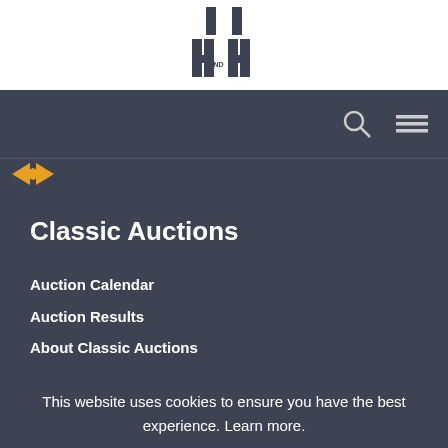[Figure (logo): H AND H Auctions logo with two H letters and pillars above]
[Figure (screenshot): Navigation bar with search icon and hamburger menu icon on dark background]
Classic Auctions
Auction Calendar
Auction Results
About Classic Auctions
This website uses cookies to ensure you have the best experience. Learn more.
CONTINUE